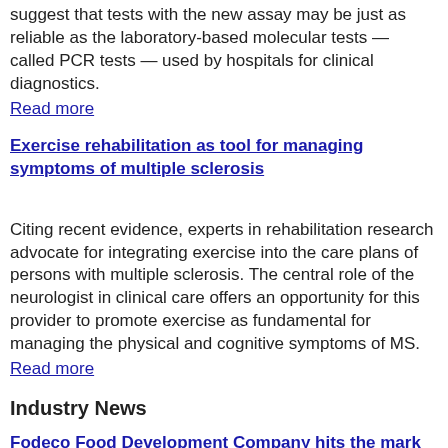COVID-19 screening. Results from an early preclinical study suggest that tests with the new assay may be just as reliable as the laboratory-based molecular tests — called PCR tests — used by hospitals for clinical diagnostics.
Read more
Exercise rehabilitation as tool for managing symptoms of multiple sclerosis
Citing recent evidence, experts in rehabilitation research advocate for integrating exercise into the care plans of persons with multiple sclerosis. The central role of the neurologist in clinical care offers an opportunity for this provider to promote exercise as fundamental for managing the physical and cognitive symptoms of MS.
Read more
Industry News
Fodeco Food Development Company hits the mark at MEDICA 2021
Today ends our first experience as exhibitors at Medica Trade Fair 2021 in Dusseldorf, Germany. As the only company in the food